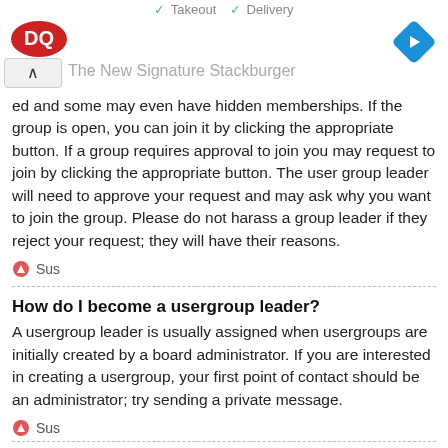[Figure (screenshot): Advertisement banner showing DQ (Dairy Queen) logo on left and a blue navigation/directions icon on right, with text 'Takeout' and 'Delivery' with checkmarks at the top, and 'The New Signature Stackburger' as ad title. Includes an expand/collapse button (^) and close (X) icon.]
ed and some may even have hidden memberships. If the group is open, you can join it by clicking the appropriate button. If a group requires approval to join you may request to join by clicking the appropriate button. The user group leader will need to approve your request and may ask why you want to join the group. Please do not harass a group leader if they reject your request; they will have their reasons.
Sus
How do I become a usergroup leader?
A usergroup leader is usually assigned when usergroups are initially created by a board administrator. If you are interested in creating a usergroup, your first point of contact should be an administrator; try sending a private message.
Sus
Why do some usergroups appear in a different colour?